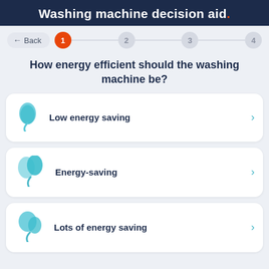Washing machine decision aid.
[Figure (infographic): Step navigation bar with Back button and steps 1 (active/orange), 2, 3, 4]
How energy efficient should the washing machine be?
Low energy saving
Energy-saving
Lots of energy saving